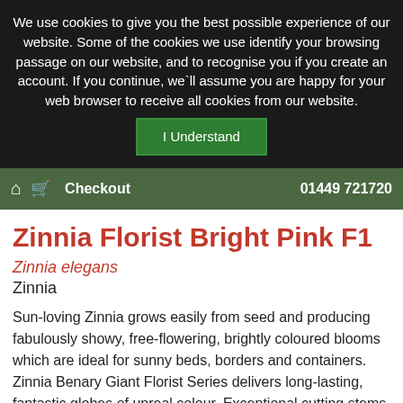We use cookies to give you the best possible experience of our website. Some of the cookies we use identify your browsing passage on our website, and to recognise you if you create an account. If you continue, we`ll assume you are happy for your web browser to receive all cookies from our website.
I Understand
🏠 🛒 Checkout   01449 721720
Zinnia Florist Bright Pink F1
Zinnia elegans
Zinnia
Sun-loving Zinnia grows easily from seed and producing fabulously showy, free-flowering, brightly coloured blooms which are ideal for sunny beds, borders and containers. Zinnia Benary Giant Florist Series delivers long-lasting, fantastic globes of unreal colour. Exceptional cutting stems and quite the best Zinnia of its type. Eye-catching bright